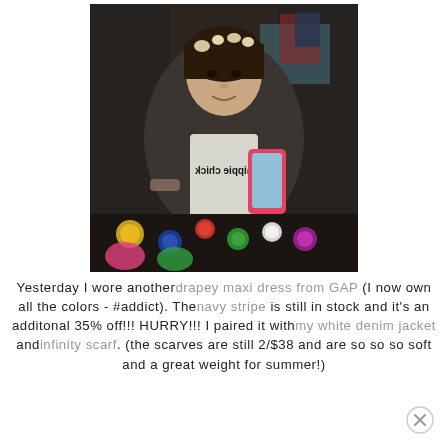[Figure (photo): A woman wearing a dark 'hippie chick' t-shirt and a floral headband takes a selfie in a mirror surrounded by colorful jewelry and clothing items.]
Yesterday I wore another drapey maxi dress from GAP (I now own all the colors - #addict). The navy stripe is still in stock and it's an additonal 35% off!!! HURRY!!! I paired it with my white denim jacket and infinity scarf. (the scarves are still 2/$38 and are so so so soft and a great weight for summer!)